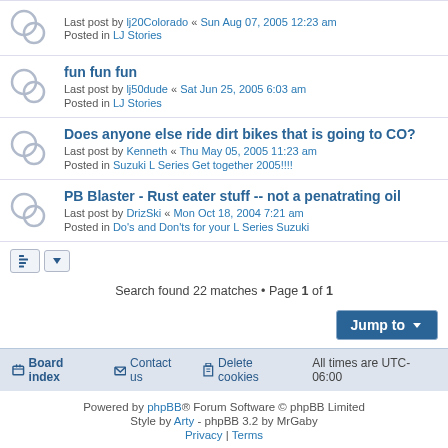Last post by lj20Colorado « Sun Aug 07, 2005 12:23 am
Posted in LJ Stories
fun fun fun
Last post by lj50dude « Sat Jun 25, 2005 6:03 am
Posted in LJ Stories
Does anyone else ride dirt bikes that is going to CO?
Last post by Kenneth « Thu May 05, 2005 11:23 am
Posted in Suzuki L Series Get together 2005!!!!
PB Blaster - Rust eater stuff -- not a penatrating oil
Last post by DrizSki « Mon Oct 18, 2004 7:21 am
Posted in Do's and Don'ts for your L Series Suzuki
Search found 22 matches • Page 1 of 1
Board index   Contact us   Delete cookies   All times are UTC-06:00
Powered by phpBB® Forum Software © phpBB Limited
Style by Arty - phpBB 3.2 by MrGaby
Privacy | Terms